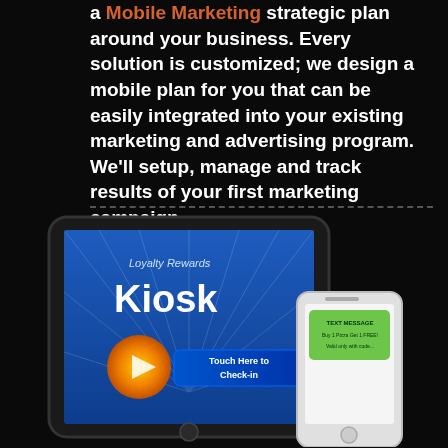a Mobile Marketing strategic plan around your business. Every solution is customized; we design a mobile plan for you that can be easily integrated into your existing marketing and advertising program. We'll setup, manage and track results of your first marketing campaign.
[Figure (illustration): A tablet device showing a 'Loyalty Rewards Kiosk' app with a 'Touch Here to Check-in' button, and a smartphone showing a text message notification.]